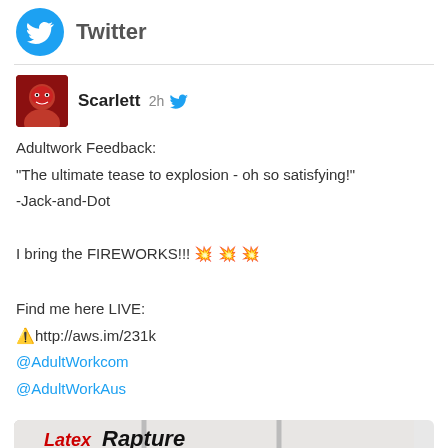Twitter
[Figure (screenshot): Twitter/social media post screenshot showing a tweet by user 'Scarlett' posted 2h ago with an avatar photo, tweet text about Adultwork Feedback and LatexRapture image]
Scarlett 2h
Adultwork Feedback:
"The ultimate tease to explosion - oh so satisfying!"
-Jack-and-Dot

I bring the FIREWORKS!!! 💥💥💥

Find me here LIVE:
⚠️http://aws.im/231k
@AdultWorkcom
@AdultWorkAus